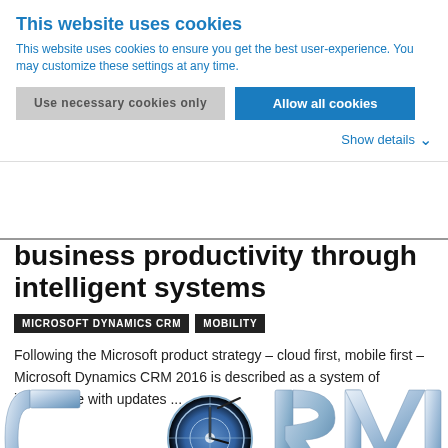This website uses cookies
This website uses cookies to ensure you get the best user-experience. You may customize these settings at any time.
Use necessary cookies only | Allow all cookies
Show details
business productivity through intelligent systems
MICROSOFT DYNAMICS CRM   MOBILITY
Following the Microsoft product strategy – cloud first, mobile first – Microsoft Dynamics CRM 2016 is described as a system of intelligence with updates ...
[Figure (illustration): 3D chrome lettering spelling CRM with a clock/target icon in the center, styled in metallic blue and silver tones]